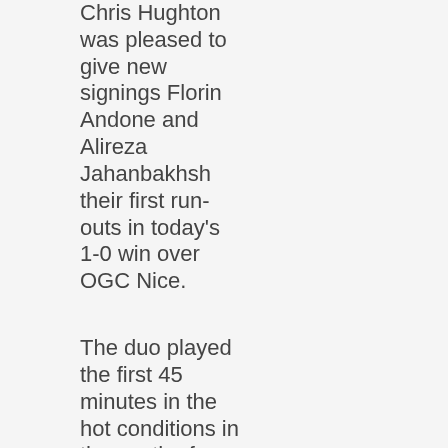Chris Hughton was pleased to give new signings Florin Andone and Alireza Jahanbakhsh their first run-outs in today's 1-0 win over OGC Nice.
The duo played the first 45 minutes in the hot conditions in the south of